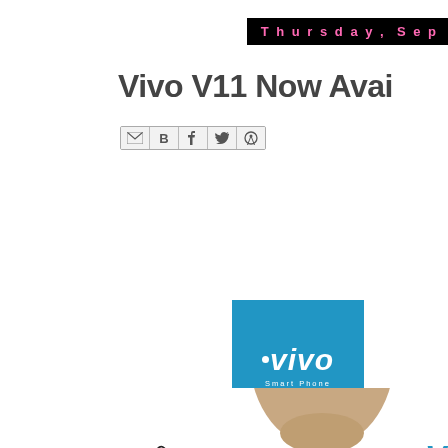Thursday, Sep
Vivo V11 Now Avai
[Figure (screenshot): Social sharing icon bar with email (M), Blogger (B), Twitter, Facebook, and Pinterest icons]
[Figure (logo): Vivo Smart Phone logo - white text on blue background square]
[Figure (photo): Stephen Curry portrait photo with signature and text reading STEPHEN CURRY. Right side shows partial Vivo ad text: In-Display Fin..., AI Camera, Pe...]